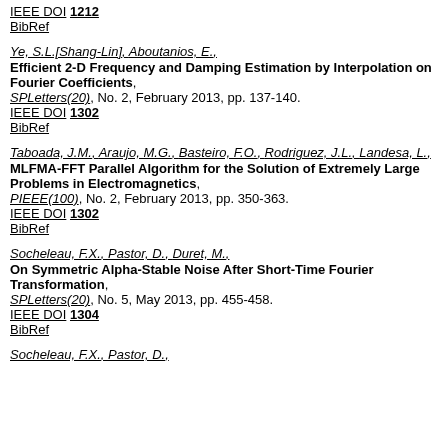IEEE DOI 1212
BibRef
Ye, S.L.[Shang-Lin], Aboutanios, E.,
Efficient 2-D Frequency and Damping Estimation by Interpolation on Fourier Coefficients,
SPLetters(20), No. 2, February 2013, pp. 137-140.
IEEE DOI 1302
BibRef
Taboada, J.M., Araujo, M.G., Basteiro, F.O., Rodriguez, J.L., Landesa, L.,
MLFMA-FFT Parallel Algorithm for the Solution of Extremely Large Problems in Electromagnetics,
PIEEE(100), No. 2, February 2013, pp. 350-363.
IEEE DOI 1302
BibRef
Socheleau, F.X., Pastor, D., Duret, M.,
On Symmetric Alpha-Stable Noise After Short-Time Fourier Transformation,
SPLetters(20), No. 5, May 2013, pp. 455-458.
IEEE DOI 1304
BibRef
Socheleau, F.X., Pastor, D.,